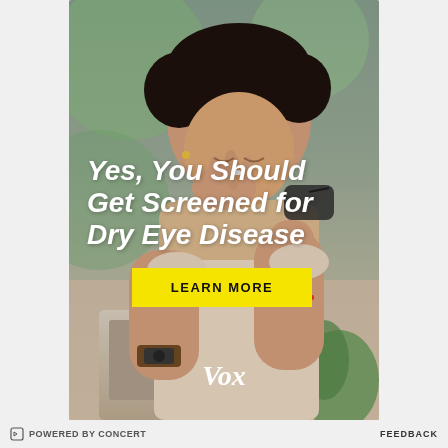[Figure (photo): Advertisement photo showing a woman of color pinching the bridge of her nose with one hand and holding glasses with the other, looking down at a laptop. Background is blurred greenery.]
Yes, You Should Get Screened for Dry Eye Disease
LEARN MORE
[Figure (logo): Vox logo in white italic serif font]
POWERED BY CONCERT   FEEDBACK